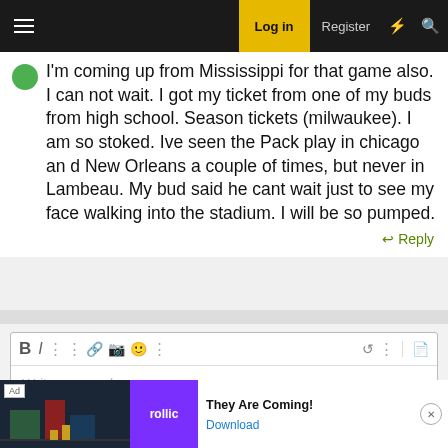Log in | Register
I'm coming up from Mississippi for that game also. I can not wait. I got my ticket from one of my buds from high school. Season tickets (milwaukee). I am so stoked. Ive seen the Pack play in chicago an d New Orleans a couple of times, but never in Lambeau. My bud said he cant wait just to see my face walking into the stadium. I will be so pumped.
Reply
[Figure (screenshot): Forum reply text editor with toolbar buttons (Bold, Italic, more options, link, image, emoji, undo, document) and placeholder text 'Write your reply...']
This site uses cookies to help personalise content, tailor your experience and to keep you logged in if you register. By continuing to use this site, you are consenting to our use of cookies.
[Figure (infographic): Advertisement banner for 'rollic' app. Shows 'They Are Coming!' with a Download button.]